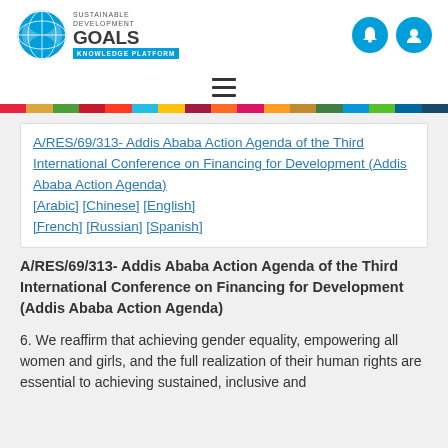[Figure (logo): UN Sustainable Development Goals Knowledge Platform logo with blue UN globe emblem, 'SUSTAINABLE DEVELOPMENT GOALS' text and 'KNOWLEDGE PLATFORM' badge, plus two teal icon circles for notifications and user profile]
[Figure (other): Hamburger menu icon (three horizontal lines)]
[Figure (other): Colorful horizontal stripe representing the 17 SDG colors]
A/RES/69/313- Addis Ababa Action Agenda of the Third International Conference on Financing for Development (Addis Ababa Action Agenda) [Arabic] [Chinese] [English] [French] [Russian] [Spanish]
A/RES/69/313- Addis Ababa Action Agenda of the Third International Conference on Financing for Development (Addis Ababa Action Agenda)
6. We reaffirm that achieving gender equality, empowering all women and girls, and the full realization of their human rights are essential to achieving sustained, inclusive and